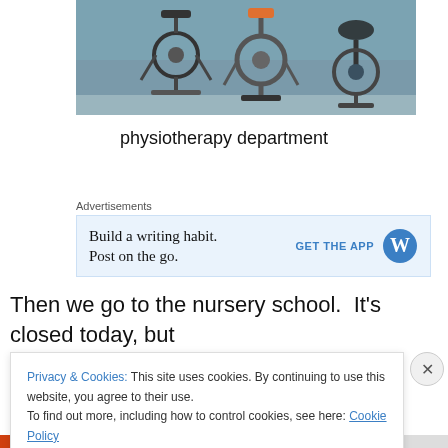[Figure (photo): Photo of exercise bikes and physiotherapy equipment in a physiotherapy department room]
physiotherapy department
Advertisements
[Figure (screenshot): WordPress advertisement: Build a writing habit. Post on the go. GET THE APP [WordPress logo]]
Then we go to the nursery school.  It's closed today, but the staff are there anyway, cleaning and organizing the
Privacy & Cookies: This site uses cookies. By continuing to use this website, you agree to their use.
To find out more, including how to control cookies, see here: Cookie Policy
Close and accept